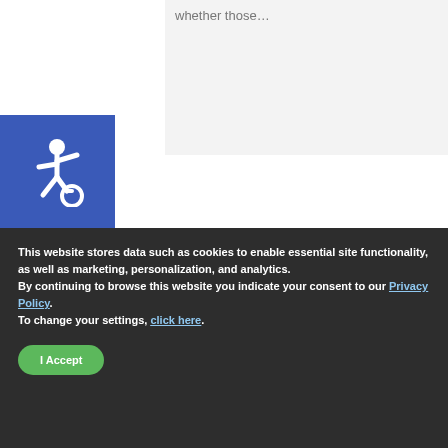whether those…
[Figure (logo): Accessibility icon - white wheelchair symbol on blue square background]
[Figure (photo): Neon sign reading PAYDAY LOANS seen through a storefront window at night]
This website stores data such as cookies to enable essential site functionality, as well as marketing, personalization, and analytics.
By continuing to browse this website you indicate your consent to our Privacy Policy.
To change your settings, click here.
I Accept